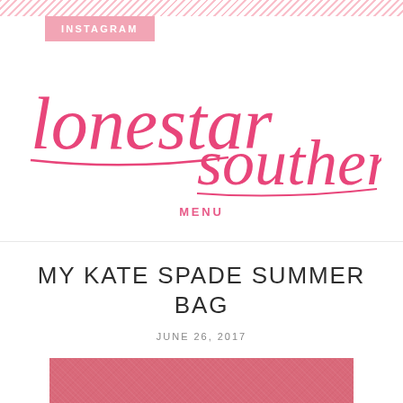INSTAGRAM
[Figure (logo): Lonestar Southern blog logo in pink cursive script handwriting]
MENU
MY KATE SPADE SUMMER BAG
JUNE 26, 2017
[Figure (photo): Pink/rose textured Kate Spade summer bag, cropped view at bottom of page]